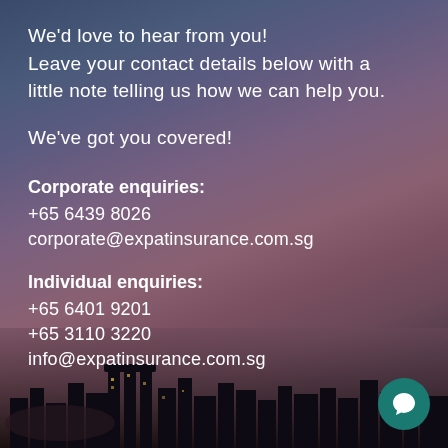We'd love to hear from you!
Leave your contact details below with a little note telling us how we can help you.
We've got you covered!
Corporate enquiries:
+65 6439 8026
corporate@expatinsurance.com.sg
Individual enquiries:
+65 6401 9201
+65 3110 3220
info@expatinsurance.com.sg
[Figure (illustration): Teal circular chat/speech bubble icon button in bottom-right corner]